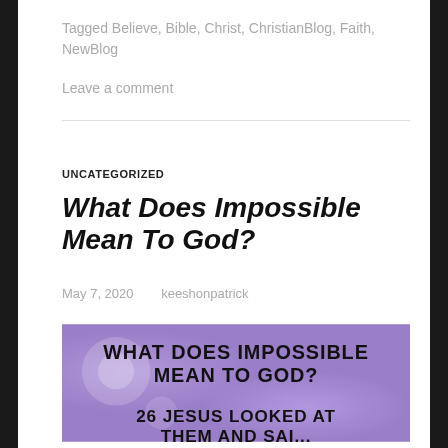Tagged Believe, Bible, Christ, ChristianBlog, Faith, NewBlog
Leave a comment
UNCATEGORIZED
What Does Impossible Mean To God?
May 7, 2020   keeshonpatrick
[Figure (photo): Purple floral background image with bold black text reading 'WHAT DOES IMPOSSIBLE MEAN TO GOD?' and below '26 JESUS LOOKED AT THEM AND SAI...']